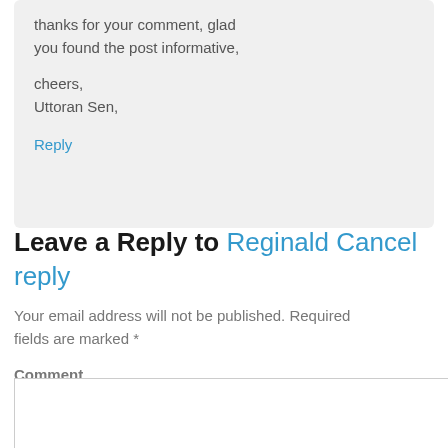thanks for your comment, glad you found the post informative,

cheers,
Uttoran Sen,
Reply
Leave a Reply to Reginald Cancel reply
Your email address will not be published. Required fields are marked *
Comment